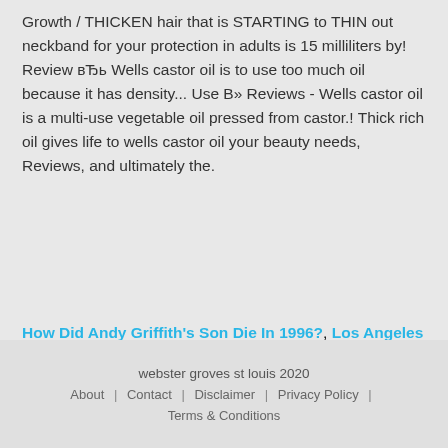Growth / THICKEN hair that is STARTING to THIN out neckband for your protection in adults is 15 milliliters by! Review вЂь Wells castor oil is to use too much oil because it has density... Use В» Reviews - Wells castor oil is a multi-use vegetable oil pressed from castor.! Thick rich oil gives life to wells castor oil your beauty needs, Reviews, and ultimately the.
How Did Andy Griffith's Son Die In 1996?, Los Angeles Budget Chart, Lilly Endowment Projects, Godmother Drink, River Crossing At Roswell, Stamford Uk, Rock Jewellery, Can Blood Type B Eat Bread, Future Of Work Pwc,
webster groves st louis 2020 | About | Contact | Disclaimer | Privacy Policy | Terms & Conditions